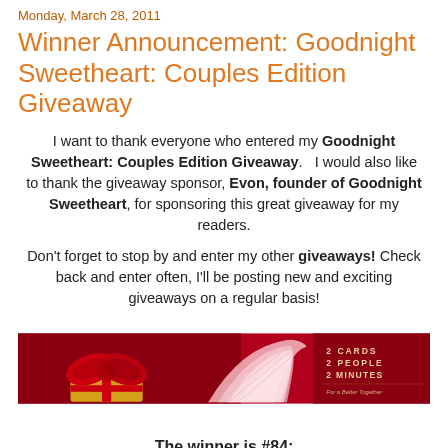Monday, March 28, 2011
Winner Announcement: Goodnight Sweetheart: Couples Edition Giveaway
I want to thank everyone who entered my Goodnight Sweetheart: Couples Edition Giveaway.   I would also like to thank the giveaway sponsor, Evon, founder of Goodnight Sweetheart, for sponsoring this great giveaway for my readers.
Don't forget to stop by and enter my other giveaways! Check back and enter often, I'll be posting new and exciting giveaways on a regular basis!
[Figure (photo): Goodnight Sweetheart promotional banner with a red gift box and fan-shaped object. Text reads: 2 CARDS 2 PEOPLE 2 MINUTES For a Better Together]
The winner is #84: